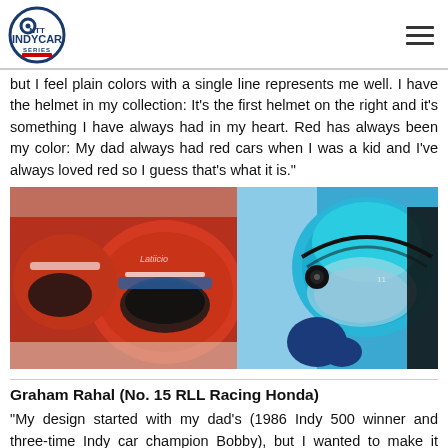NTT INDYCAR SERIES
but I feel plain colors with a single line represents me well. I have the helmet in my collection: It's the first helmet on the right and it's something I have always had in my heart. Red has always been my color: My dad always had red cars when I was a kid and I've always loved red so I guess that's what it is."
[Figure (photo): Two racing helmets side by side: left image shows red helmets, right image shows a driver wearing a blue helmet in a racing car]
Graham Rahal (No. 15 RLL Racing Honda)
"My design started with my dad's (1986 Indy 500 winner and three-time Indy car champion Bobby), but I wanted to make it modern. I have the circular top and I have the red, white and blue